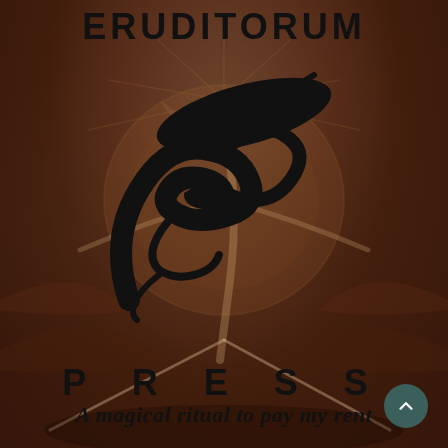ERUDITORUM
[Figure (logo): Eruditorum Press stylized EP logo in black calligraphic script over a William Blake-style painting background of a figure with outstretched arms/compasses]
PRESS
A magical ritual to pay my rent